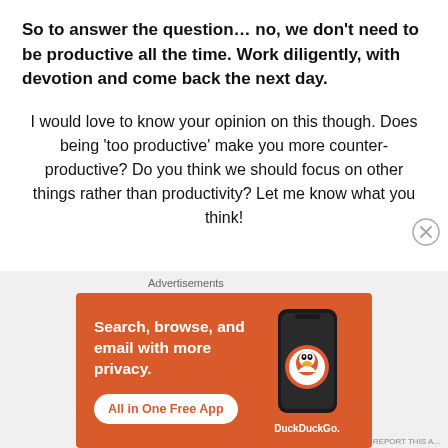So to answer the question… no, we don't need to be productive all the time. Work diligently, with devotion and come back the next day.
I would love to know your opinion on this though. Does being 'too productive' make you more counter-productive? Do you think we should focus on other things rather than productivity? Let me know what you think!
[Figure (screenshot): DuckDuckGo advertisement banner with orange background. Text reads: Search, browse, and email with more privacy. All in One Free App. Shows a phone with DuckDuckGo logo.]